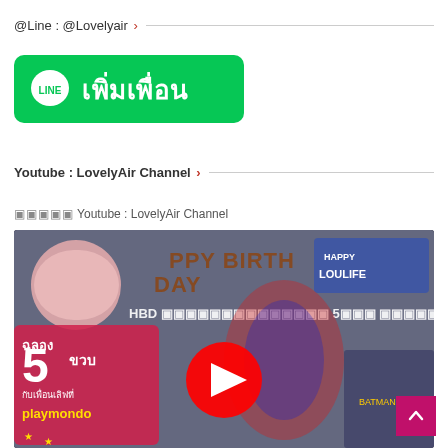@Line : @Lovelyair >
[Figure (illustration): Green LINE app 'Add Friend' button with LINE logo and Thai text เพิ่มเพื่อน]
Youtube : LovelyAir Channel >
▣▣▣▣▣ Youtube : LovelyAir Channel
[Figure (screenshot): YouTube video thumbnail showing HBD birthday celebration video with 'ฉลอง 5 ขวบ กับเพื่อนเลิฟที่ playmondo' text and YouTube play button overlay]